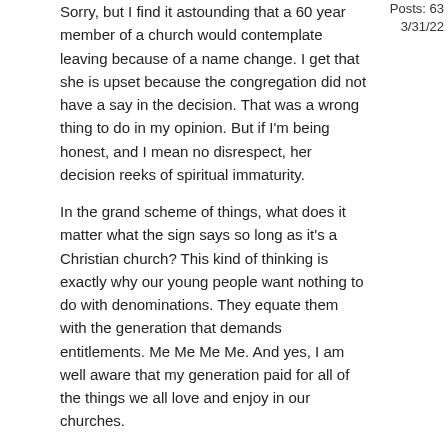Posts: 63
3/31/22
Sorry, but I find it astounding that a 60 year member of a church would contemplate leaving because of a name change. I get that she is upset because the congregation did not have a say in the decision. That was a wrong thing to do in my opinion. But if I'm being honest, and I mean no disrespect, her decision reeks of spiritual immaturity.
In the grand scheme of things, what does it matter what the sign says so long as it's a Christian church? This kind of thinking is exactly why our young people want nothing to do with denominations. They equate them with the generation that demands entitlements. Me Me Me Me. And yes, I am well aware that my generation paid for all of the things we all love and enjoy in our churches.
All of this reminds me of a brother who said he was leaving our church after nearly 20 years of faithful service to the Lord. His reason for leaving? He was upset that brother "John" wasn't being asked to sing often enough any more. Never mind that brother John was getting along in years and struggled to sing. No, he wanted his favorite singer to sing or else he was leaving. And he did.
Again, I mean no disrespect to anyone who disagrees with my comments, but at some point we need to get to the place where it's not about me, but Him.
“No man is greater than his prayer life”.
Leonard Ravenhill